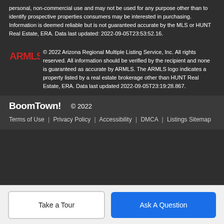personal, non-commercial use and may not be used for any purpose other than to identify prospective properties consumers may be interested in purchasing. Information is deemed reliable but is not guaranteed accurate by the MLS or HUNT Real Estate, ERA. Data last updated: 2022-09-05T23:53:52.16.
© 2022 Arizona Regional Multiple Listing Service, Inc. All rights reserved. All information should be verified by the recipient and none is guaranteed as accurate by ARMLS. The ARMLS logo indicates a property listed by a real estate brokerage other than HUNT Real Estate, ERA. Data last updated 2022-09-05T23:19:28.867.
BoomTown! © 2022
Terms of Use | Privacy Policy | Accessibility | DMCA | Listings Sitemap
Take a Tour
Ask A Question